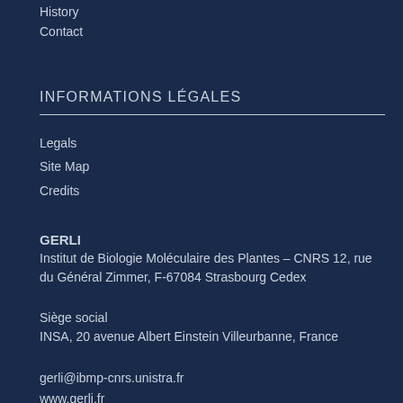History
Contact
INFORMATIONS LÉGALES
Legals
Site Map
Credits
GERLI
Institut de Biologie Moléculaire des Plantes – CNRS 12, rue du Général Zimmer, F-67084 Strasbourg Cedex
Siège social
INSA, 20 avenue Albert Einstein Villeurbanne, France
gerli@ibmp-cnrs.unistra.fr
www.gerli.fr